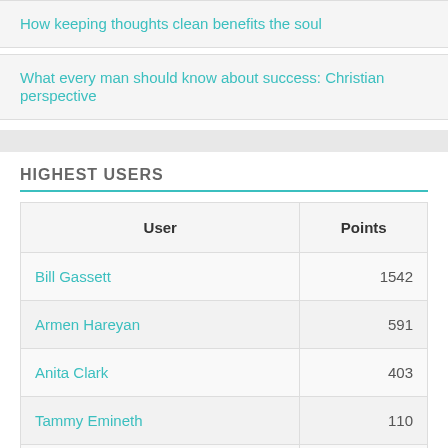How keeping thoughts clean benefits the soul
What every man should know about success: Christian perspective
HIGHEST USERS
| User | Points |
| --- | --- |
| Bill Gassett | 1542 |
| Armen Hareyan | 591 |
| Anita Clark | 403 |
| Tammy Emineth | 110 |
| Melissa Zimmerman | 110 |